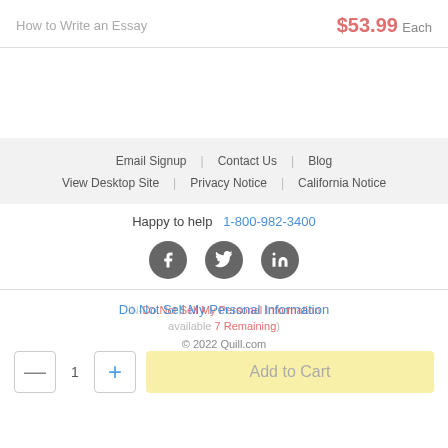How to Write an Essay
$53.99 Each
Email Signup | Contact Us | Blog
View Desktop Site | Privacy Notice | California Notice
Happy to help  1-800-982-3400
[Figure (illustration): Social media icons: Facebook, Twitter, LinkedIn as dark grey circles with white logos]
IN-Do Not Sell My Personal Information
available 7 Remaining)
© 2022 Quill.com
Add to Cart